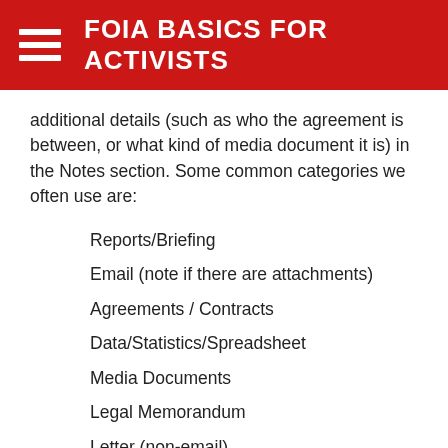FOIA BASICS FOR ACTIVISTS
additional details (such as who the agreement is between, or what kind of media document it is) in the Notes section. Some common categories we often use are:
Reports/Briefing
Email (note if there are attachments)
Agreements / Contracts
Data/Statistics/Spreadsheet
Media Documents
Legal Memorandum
Letter (non-email)